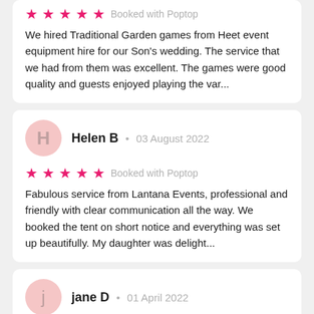★★★★★ Booked with Poptop
We hired Traditional Garden games from Heet event equipment hire for our Son's wedding. The service that we had from them was excellent. The games were good quality and guests enjoyed playing the var...
Helen B • 03 August 2022
★★★★★ Booked with Poptop
Fabulous service from Lantana Events, professional and friendly with clear communication all the way. We booked the tent on short notice and everything was set up beautifully. My daughter was delight...
jane D • 01 April 2022
★★★★★ Booked with Poptop